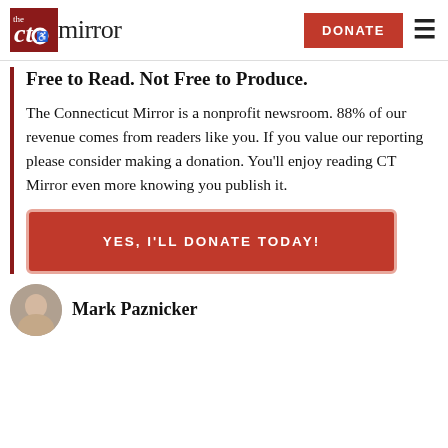CT Mirror | DONATE
Free to Read. Not Free to Produce.
The Connecticut Mirror is a nonprofit newsroom. 88% of our revenue comes from readers like you. If you value our reporting please consider making a donation. You'll enjoy reading CT Mirror even more knowing you publish it.
YES, I'LL DONATE TODAY!
Mark Paznicker